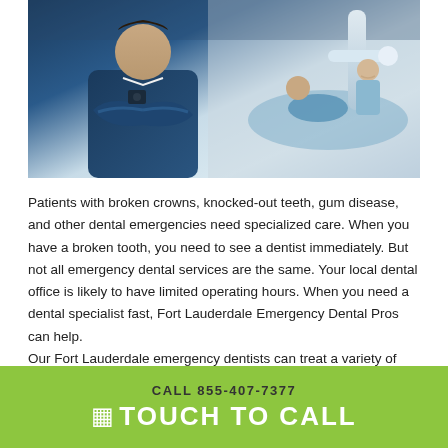[Figure (photo): Dental office scene: a dentist in blue scrubs with arms crossed in foreground, dental assistant and patient in chair with dental equipment in background]
Patients with broken crowns, knocked-out teeth, gum disease, and other dental emergencies need specialized care. When you have a broken tooth, you need to see a dentist immediately. But not all emergency dental services are the same. Your local dental office is likely to have limited operating hours. When you need a dental specialist fast, Fort Lauderdale Emergency Dental Pros can help.
Our Fort Lauderdale emergency dentists can treat a variety of dental emergencies. We have specialists ranging from a general dentist to an endodontist, periodontist, and even oral surgeons. Our dental health experts will examine you and direct you to the appropriate dental professional. When it
CALL 855-407-7377
TOUCH TO CALL